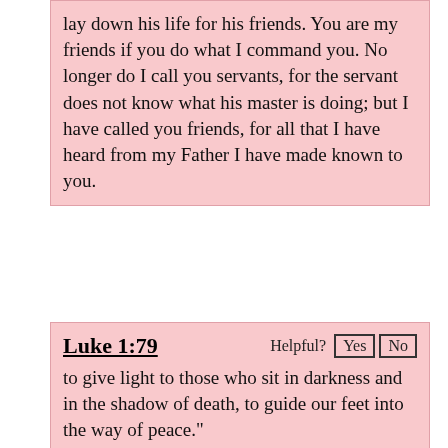lay down his life for his friends. You are my friends if you do what I command you. No longer do I call you servants, for the servant does not know what his master is doing; but I have called you friends, for all that I have heard from my Father I have made known to you.
Luke 1:79
Helpful? Yes No
to give light to those who sit in darkness and in the shadow of death, to guide our feet into the way of peace."
Isaiah 60:1-3
Helpful? Yes No
Arise, shine, for your light has come, and the glory of the Lord has risen upon you. For behold, darkness shall cover the earth...